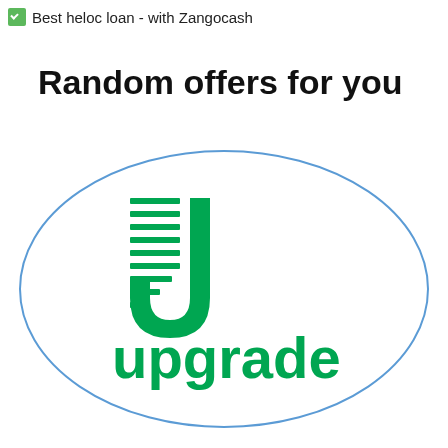✅ Best heloc loan - with Zangocash
Random offers for you
[Figure (logo): Upgrade company logo inside a light blue oval border. Green shield-like icon with horizontal lines on left side and 'upgrade' text in green below.]